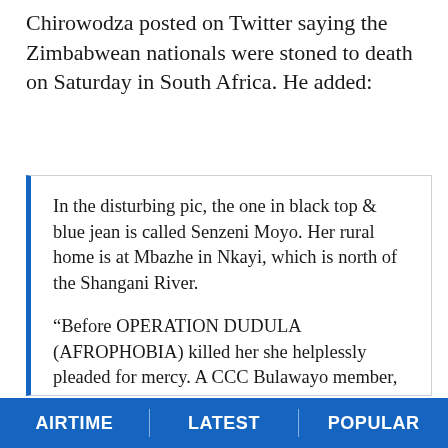Chirowodza posted on Twitter saying the Zimbabwean nationals were stoned to death on Saturday in South Africa. He added:
In the disturbing pic, the one in black top & blue jean is called Senzeni Moyo. Her rural home is at Mbazhe in Nkayi, which is north of the Shangani River.

“Before OPERATION DUDULA (AFROPHOBIA) killed her she helplessly pleaded for mercy. A CCC Bulawayo member, who is a relative, says four other Zimbabweans lost their lives in the same attack. Her family only got to know of the
AIRTIME   LATEST   POPULAR